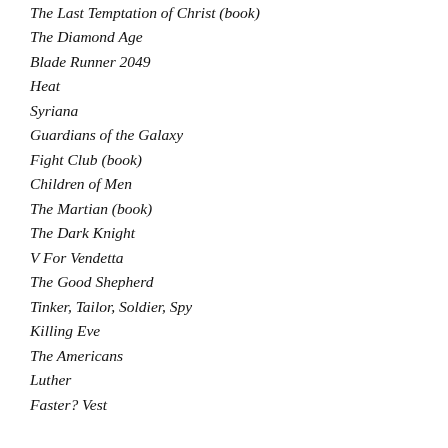The Last Temptation of Christ (book)
The Diamond Age
Blade Runner 2049
Heat
Syriana
Guardians of the Galaxy
Fight Club (book)
Children of Men
The Martian (book)
The Dark Knight
V For Vendetta
The Good Shepherd
Tinker, Tailor, Soldier, Spy
Killing Eve
The Americans
Luther
Faster?Vest